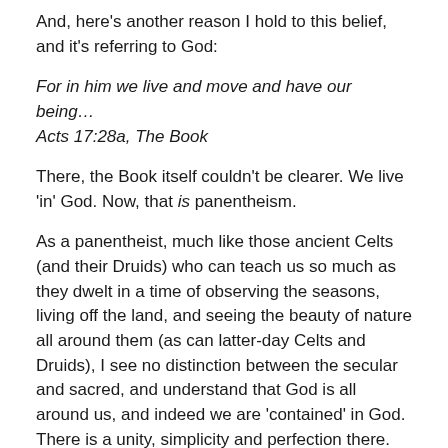And, here's another reason I hold to this belief, and it's referring to God:
For in him we live and move and have our being…
Acts 17:28a, The Book
There, the Book itself couldn't be clearer. We live 'in' God. Now, that is panentheism.
As a panentheist, much like those ancient Celts (and their Druids) who can teach us so much as they dwelt in a time of observing the seasons, living off the land, and seeing the beauty of nature all around them (as can latter-day Celts and Druids), I see no distinction between the secular and sacred, and understand that God is all around us, and indeed we are 'contained' in God. There is a unity, simplicity and perfection there.